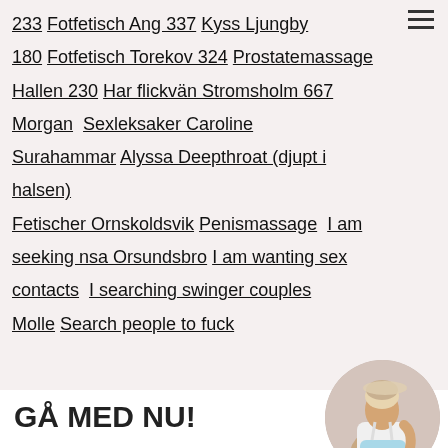233 Fotfetisch Ang 337 Kyss Ljungby 180 Fotfetisch Torekov 324 Prostatemassage Hallen 230 Har flickvän Stromsholm 667 Morgan  Sexleksaker Caroline Surahammar  Alyssa Deepthroat (djupt i halsen) Fetischer Ornskoldsvik  Penismassage  I am seeking nsa Orsundsbro  I am wanting sex contacts  I searching swinger couples Molle  Search people to fuck
GÅ MED NU!
Forum
Gratis dejting
[Figure (photo): Circular cropped photo of a woman in a white top and light blue shorts/skirt, posed against a light background.]